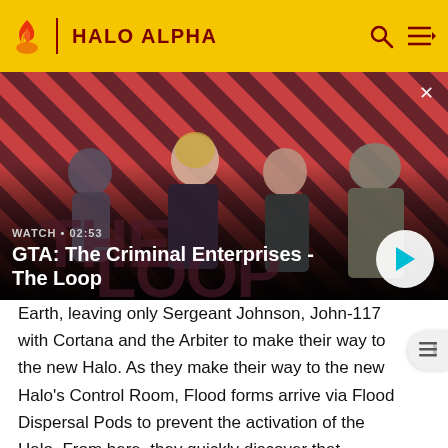HALO ALPHA
[Figure (screenshot): Video thumbnail showing GTA: The Criminal Enterprises - The Loop promo image with characters on a red diagonal-striped background. Shows WATCH • 02:53 label and play button.]
GTA: The Criminal Enterprises - The Loop
Earth, leaving only Sergeant Johnson, John-117 with Cortana and the Arbiter to make their way to the new Halo. As they make their way to the new Halo's Control Room, Flood forms arrive via Flood Dispersal Pods to prevent the activation of the Halo. From here, they quickly discover that Gravemind is attempting to